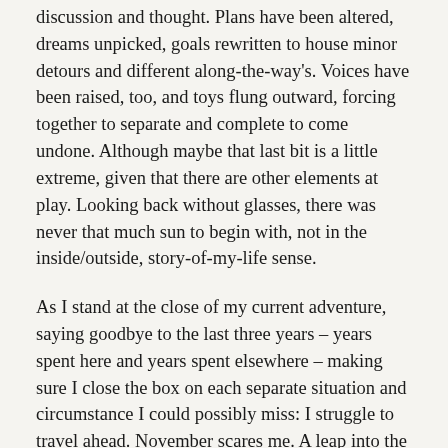discussion and thought. Plans have been altered, dreams unpicked, goals rewritten to house minor detours and different along-the-way's. Voices have been raised, too, and toys flung outward, forcing together to separate and complete to come undone. Although maybe that last bit is a little extreme, given that there are other elements at play. Looking back without glasses, there was never that much sun to begin with, not in the inside/outside, story-of-my-life sense.
As I stand at the close of my current adventure, saying goodbye to the last three years – years spent here and years spent elsewhere – making sure I close the box on each separate situation and circumstance I could possibly miss: I struggle to travel ahead. November scares me. A leap into the unknown, I am not yet sure I will be held. I fear that in returning I will be rewinding and all that has been achieved lost.
As we go on. I call upon...